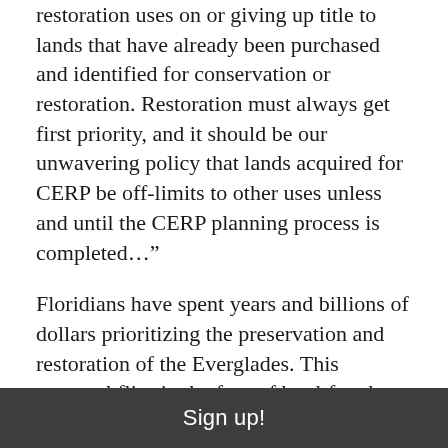restoration uses on or giving up title to lands that have already been purchased and identified for conservation or restoration. Restoration must always get first priority, and it should be our unwavering policy that lands acquired for CERP be off-limits to other uses unless and until the CERP planning process is completed…"
Floridians have spent years and billions of dollars prioritizing the preservation and restoration of the Everglades. This proposal flies in the face of hard-fought, incremental victories, and Friends of the Everglades strongly encourages the South Florida Water Management District Governing Board to take another hard look at whether this project is worth the interference with the larger mission
Sign up!